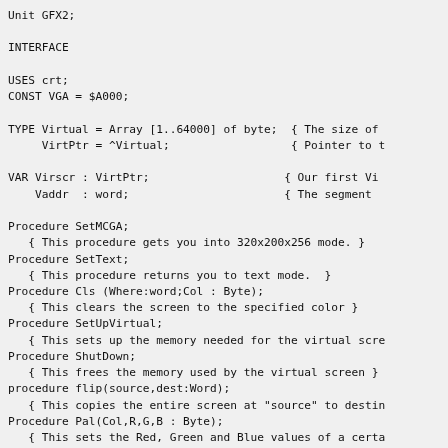Unit GFX2;

INTERFACE

USES crt;
CONST VGA = $A000;

TYPE Virtual = Array [1..64000] of byte;  { The size of
     VirtPtr = ^Virtual;                  { Pointer to t

VAR Virscr : VirtPtr;                    { Our first Vi
    Vaddr  : word;                       { The segment

Procedure SetMCGA;
   { This procedure gets you into 320x200x256 mode. }
Procedure SetText;
   { This procedure returns you to text mode.  }
Procedure Cls (Where:word;Col : Byte);
   { This clears the screen to the specified color }
Procedure SetUpVirtual;
   { This sets up the memory needed for the virtual scre
Procedure ShutDown;
   { This frees the memory used by the virtual screen }
procedure flip(source,dest:Word);
   { This copies the entire screen at "source" to destin
Procedure Pal(Col,R,G,B : Byte);
   { This sets the Red, Green and Blue values of a certa
Procedure GetPal(Col : Byte; Var R,G,B : Byte);
 { This gets the Red, Green and Blue values of a certai
procedure WaitRetrace;